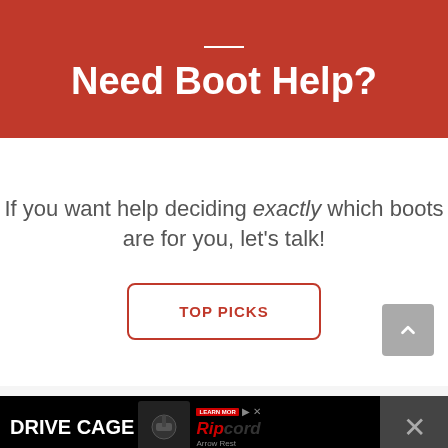Need Boot Help?
If you want help deciding exactly which boots are for you, let's talk!
[Figure (other): Button with red border reading TOP PICKS]
[Figure (other): Advertisement banner: DRIVE CAGE with Ripcord Arrow Rest product image and close button]